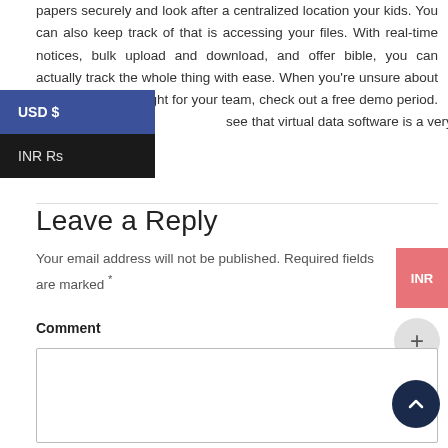papers securely and look after a centralized location your kids. You can also keep track of that is accessing your files. With real-time notices, bulk upload and download, and offer bible, you can actually track the whole thing with ease. When you're unsure about which program is right for your team, check out a free demo period. You'll see that virtual data software is a very good investment.
[Figure (screenshot): Currency dropdown overlay showing 'USD $' selected (blue background) and 'INR Rs' option (dark background)]
Leave a Reply
Your email address will not be published. Required fields are marked *
[Figure (screenshot): INR badge button on right side]
[Figure (screenshot): Plus button circle on right side]
Comment
[Figure (screenshot): Comment text area input box]